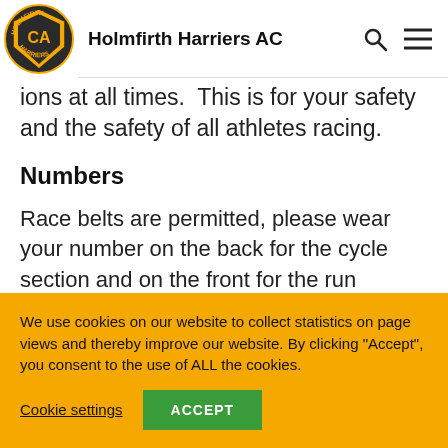Holmfirth Harriers AC
ions at all times.  This is for your safety and the safety of all athletes racing.
Numbers
Race belts are permitted, please wear your number on the back for the cycle section and on the front for the run section. Otherwise please pin your number at four corners on the front of your vest/t-shirt.
We use cookies on our website to collect statistics on page views and thereby improve our website. By clicking "Accept", you consent to the use of ALL the cookies.
Cookie settings
ACCEPT